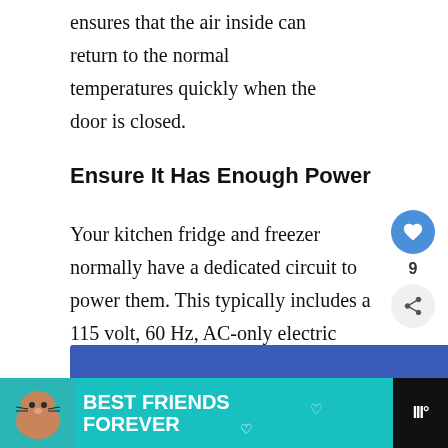ensures that the air inside can return to the normal temperatures quickly when the door is closed.
Ensure It Has Enough Power
Your kitchen fridge and freezer normally have a dedicated circuit to power them. This typically includes a 115 volt, 60 Hz, AC-only electric outlet.
[Figure (screenshot): Blue banner advertisement with text 'You okay?' in white italic font]
[Figure (screenshot): What's Next widget showing 'What is a Garage Rea...' article preview]
[Figure (screenshot): Bottom advertisement banner: Best Friends Forever with cat image on teal background]